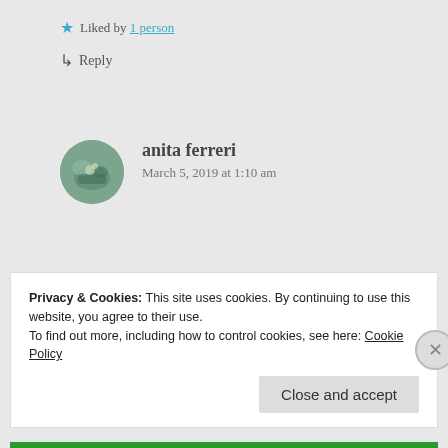★ Liked by 1 person
↳ Reply
anita ferreri
March 5, 2019 at 1:10 am
Privacy & Cookies: This site uses cookies. By continuing to use this website, you agree to their use.
To find out more, including how to control cookies, see here: Cookie Policy
Close and accept